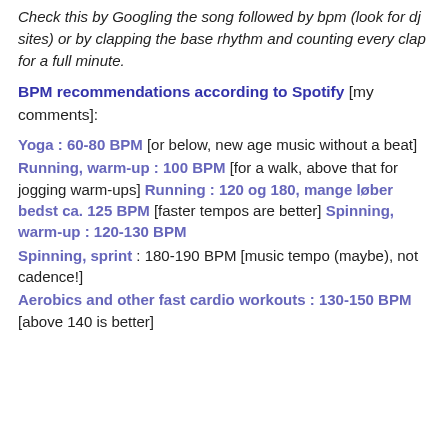Check this by Googling the song followed by bpm (look for dj sites) or by clapping the base rhythm and counting every clap for a full minute.
BPM recommendations according to Spotify [my comments]:
Yoga : 60-80 BPM [or below, new age music without a beat]
Running, warm-up : 100 BPM [for a walk, above that for jogging warm-ups] Running : 120 og 180, mange løber bedst ca. 125 BPM [faster tempos are better] Spinning, warm-up : 120-130 BPM
Spinning, sprint : 180-190 BPM [music tempo (maybe), not cadence!]
Aerobics and other fast cardio workouts : 130-150 BPM [above 140 is better]